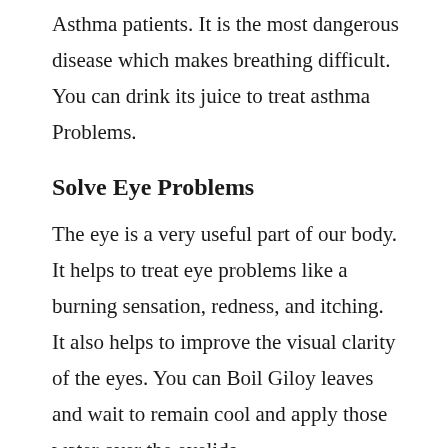Asthma patients. It is the most dangerous disease which makes breathing difficult. You can drink its juice to treat asthma Problems.
Solve Eye Problems
The eye is a very useful part of our body. It helps to treat eye problems like a burning sensation, redness, and itching. It also helps to improve the visual clarity of the eyes. You can Boil Giloy leaves and wait to remain cool and apply those water over the eyelids.
Decrease Hair Loss
It helps to control your hair loss and Dandruff because of its pungent and astringent nature. You can